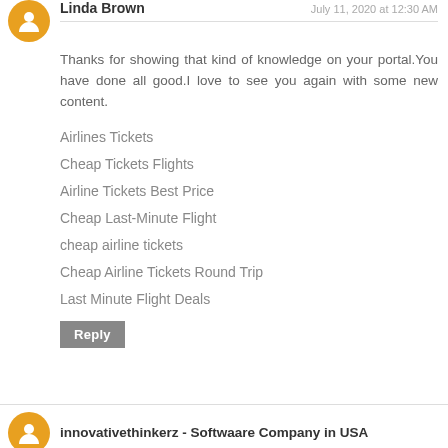Linda Brown
July 11, 2020 at 12:30 AM
Thanks for showing that kind of knowledge on your portal.You have done all good.I love to see you again with some new content.
Airlines Tickets
Cheap Tickets Flights
Airline Tickets Best Price
Cheap Last-Minute Flight
cheap airline tickets
Cheap Airline Tickets Round Trip
Last Minute Flight Deals
Reply
innovativethinkerz - Softwaare Company in USA